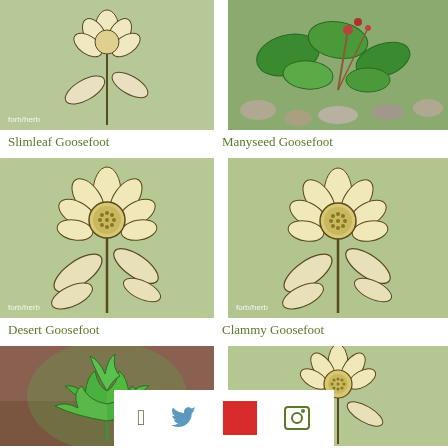[Figure (photo): Slimleaf Goosefoot plant illustration with botanical watermark 'forb/herb']
Slimleaf Goosefoot
[Figure (photo): Manyseed Goosefoot real photo with green leaves and reddish stems on gravel]
Manyseed Goosefoot
[Figure (illustration): Desert Goosefoot botanical illustration with sunflower-like flower, watermark 'forb/herb']
Desert Goosefoot
[Figure (illustration): Clammy Goosefoot botanical illustration with sunflower-like flower, watermark 'forb/herb']
Clammy Goosefoot
[Figure (photo): Red Goosefoot plant photo showing deeply lobed green leaves in brown soil]
Red Goosefoot
[Figure (illustration): Mountain Goosefoot botanical illustration with sunflower-like flower]
Mountain Goosefoot